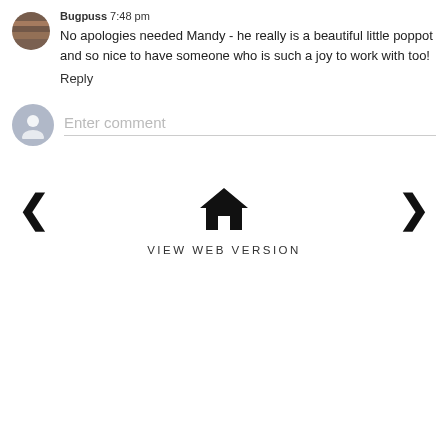Bugpuss 7:48 pm
No apologies needed Mandy - he really is a beautiful little poppot and so nice to have someone who is such a joy to work with too!
Reply
Enter comment
[Figure (infographic): Navigation row with left arrow, home icon, right arrow, and VIEW WEB VERSION text]
VIEW WEB VERSION